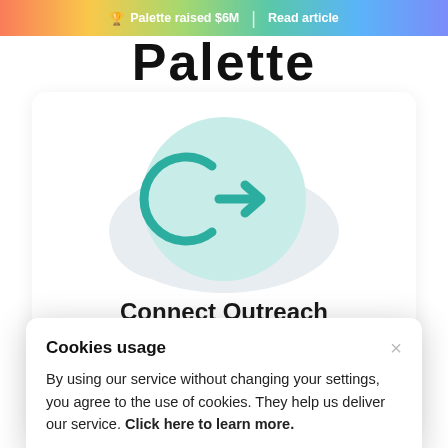🏆 Palette raised $6M | Read article
Palette
[Figure (illustration): Teal circular icon with a login/connect arrow symbol on a light mint green circle background, with a light gray cloud shape behind it]
Connect Outreach
[Figure (logo): Row of integration logos: Salesforce (blue cloud), HubSpot (orange dot), Pipedrive (text), and a dark cloud with bar chart icon]
QuickBooks and others.
Cookies usage

By using our service without changing your settings, you agree to the use of cookies. They help us deliver our service. Click here to learn more.